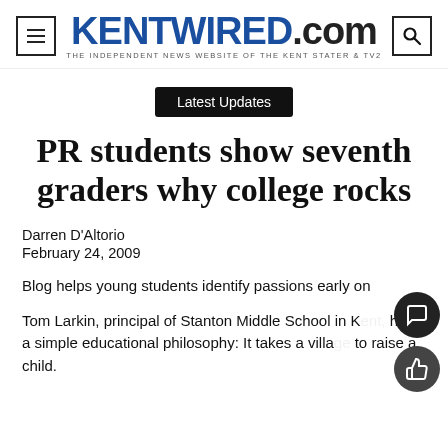KENTWIRED.com — THE INDEPENDENT NEWS WEBSITE OF THE KENT STATER & TV2
Latest Updates
PR students show seventh graders why college rocks
Darren D'Altorio
February 24, 2009
Blog helps young students identify passions early on
Tom Larkin, principal of Stanton Middle School in K… has a simple educational philosophy: It takes a villa… to raise a child.